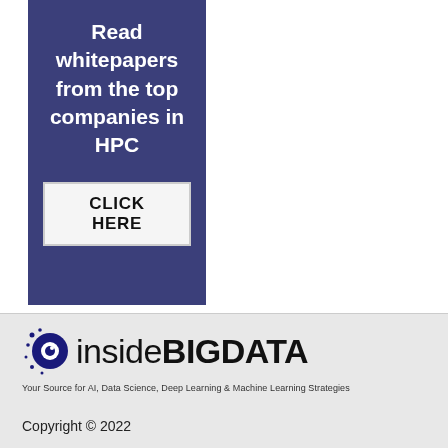[Figure (illustration): Dark blue advertisement banner with white bold text reading 'Read whitepapers from the top companies in HPC' and a light gray button labeled 'CLICK HERE']
[Figure (logo): insideBIGDATA logo with circular icon on the left, large text 'insideBIGDATA', and tagline 'Your Source for AI, Data Science, Deep Learning & Machine Learning Strategies']
Copyright © 2022